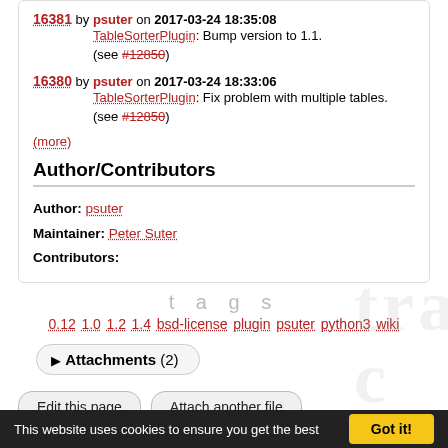16381 by psuter on 2017-03-24 18:35:08 TableSorterPlugin: Bump version to 1.1. (see #12850)
16380 by psuter on 2017-03-24 18:33:06 TableSorterPlugin: Fix problem with multiple tables. (see #12850)
(more)
Author/Contributors
Author: psuter
Maintainer: Peter Suter
Contributors:
tags
0.12 1.0 1.2 1.4 bsd-license plugin psuter python3 wiki
▶ Attachments (2)
Edit this page
Attach another file
Download in other formats:
Plain Text
Powered by Trac 1.3.6
This website uses cookies to ensure you get the best